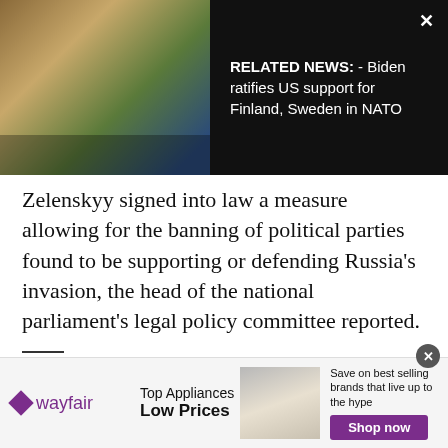[Figure (screenshot): Video thumbnail showing Biden signing event with Kamala Harris and others, flags in background. Overlay shows RELATED NEWS text.]
RELATED NEWS:  - Biden ratifies US support for Finland, Sweden in NATO
Zelenskyy signed into law a measure allowing for the banning of political parties found to be supporting or defending Russia's invasion, the head of the national parliament's legal policy committee reported.
Yesica Fisch in Bakhmut, Yuras Karmanau in Lviv, Mstyslav Chernov in Kharkiv, Elena Becatoros in Odesa, Jill Lawless in London and other AP staffers around the world contributed to this report.
[Figure (screenshot): Wayfair advertisement banner: Top Appliances Low Prices, image of a stove/range appliance, Save on best selling brands that live up to the hype, Shop now button.]